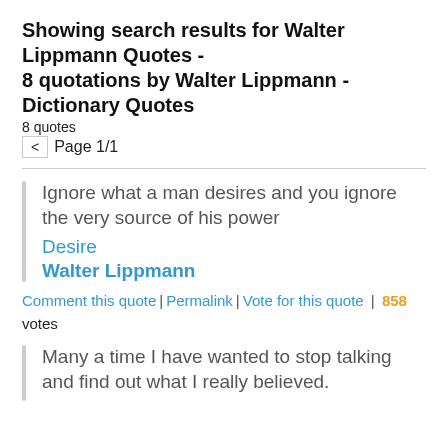Showing search results for Walter Lippmann Quotes - 8 quotations by Walter Lippmann - Dictionary Quotes
8 quotes
< Page 1/1
Ignore what a man desires and you ignore the very source of his power
Desire
Walter Lippmann
Comment this quote | Permalink | Vote for this quote | 858 votes
Many a time I have wanted to stop talking and find out what I really believed.